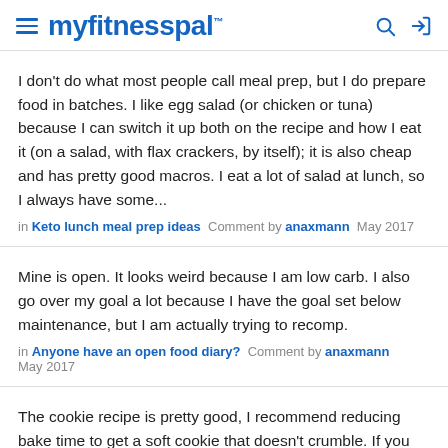myfitnesspal
I don't do what most people call meal prep, but I do prepare food in batches. I like egg salad (or chicken or tuna) because I can switch it up both on the recipe and how I eat it (on a salad, with flax crackers, by itself); it is also cheap and has pretty good macros. I eat a lot of salad at lunch, so I always have some...
in Keto lunch meal prep ideas  Comment by anaxmann  May 2017
Mine is open. It looks weird because I am low carb. I also go over my goal a lot because I have the goal set below maintenance, but I am actually trying to recomp.
in Anyone have an open food diary?  Comment by anaxmann  May 2017
The cookie recipe is pretty good, I recommend reducing bake time to get a soft cookie that doesn't crumble. If you